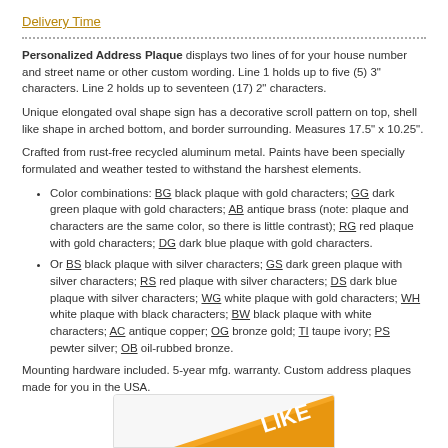Delivery Time
Personalized Address Plaque displays two lines of for your house number and street name or other custom wording. Line 1 holds up to five (5) 3" characters. Line 2 holds up to seventeen (17) 2" characters.
Unique elongated oval shape sign has a decorative scroll pattern on top, shell like shape in arched bottom, and border surrounding. Measures 17.5" x 10.25".
Crafted from rust-free recycled aluminum metal. Paints have been specially formulated and weather tested to withstand the harshest elements.
Color combinations: BG black plaque with gold characters; GG dark green plaque with gold characters; AB antique brass (note: plaque and characters are the same color, so there is little contrast); RG red plaque with gold characters; DG dark blue plaque with gold characters.
Or BS black plaque with silver characters; GS dark green plaque with silver characters; RS red plaque with silver characters; DS dark blue plaque with silver characters; WG white plaque with gold characters; WH white plaque with black characters; BW black plaque with white characters; AC antique copper; OG bronze gold; TI taupe ivory; PS pewter silver; OB oil-rubbed bronze.
Mounting hardware included. 5-year mfg. warranty. Custom address plaques made for you in the USA.
[Figure (other): Partial badge/ribbon image at the bottom with orange/gold diagonal stripe and text 'LIKE']